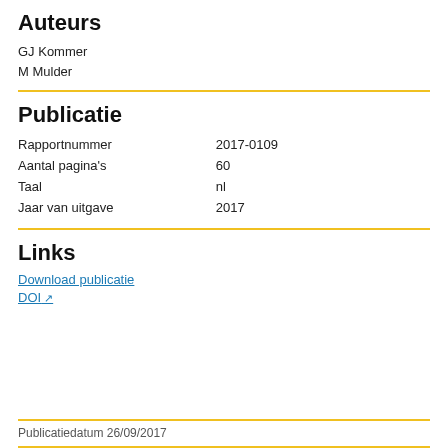Auteurs
GJ Kommer
M Mulder
Publicatie
| Rapportnummer | 2017-0109 |
| Aantal pagina's | 60 |
| Taal | nl |
| Jaar van uitgave | 2017 |
Links
Download publicatie
DOI ↗
Publicatiedatum 26/09/2017